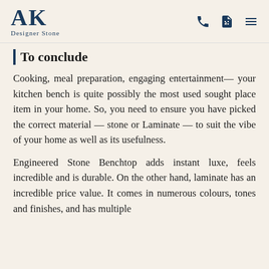AK Designer Stone
To conclude
Cooking, meal preparation, engaging entertainment— your kitchen bench is quite possibly the most used sought place item in your home. So, you need to ensure you have picked the correct material — stone or Laminate — to suit the vibe of your home as well as its usefulness.
Engineered Stone Benchtop adds instant luxe, feels incredible and is durable. On the other hand, laminate has an incredible price value. It comes in numerous colours, tones and finishes, and has multiple